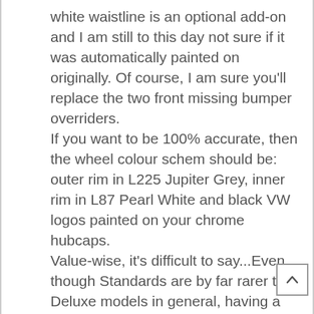white waistline is an optional add-on and I am still to this day not sure if it was automatically painted on originally. Of course, I am sure you'll replace the two front missing bumper overriders. If you want to be 100% accurate, then the wheel colour schem should be: outer rim in L225 Jupiter Grey, inner rim in L87 Pearl White and black VW logos painted on your chrome hubcaps. Value-wise, it's difficult to say...Even though Standards are by far rarer than Deluxe models in general, having a RHD makes it even more special. The problem is that most people don't understand this so as far as the market goes, it will probably be priced as any good RHD Deluxe Oval would be. The market and trends in price certainly don't reflect or highlight the actual rarity of some models. It's more about what's mostly in demand, so since a lot of people haven't got the Standard thing yet, I wouldn't expect huge